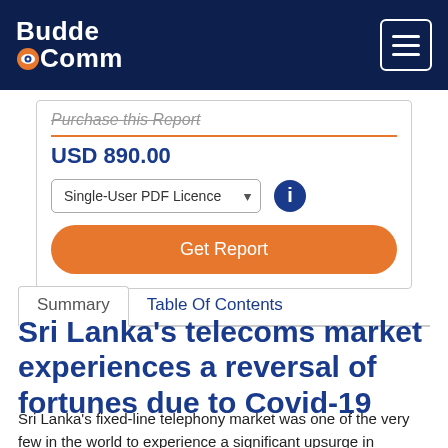[Figure (logo): BuddeComm logo — white text on dark navy background with an eye icon in the word 'Comm']
Purchase this Report
USD 890.00
Single-User PDF Licence
Get Report
Summary   Table Of Contents
Sri Lanka's telecoms market experiences a reversal of fortunes due to Covid-19
Sri Lanka's fixed-line telephony market was one of the very few in the world to experience a significant upsurge in